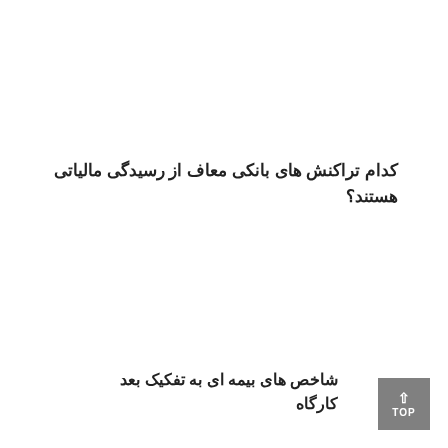کدام تراکنش های بانکی معاف از رسیدگی مالیاتی هستند؟
شاخص های بیمه ای به تفکیک بعد کارگاه